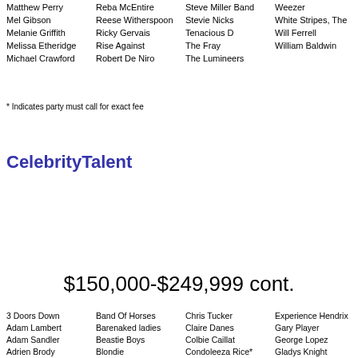Matthew Perry
Mel Gibson
Melanie Griffith
Melissa Etheridge
Michael Crawford
Reba McEntire
Reese Witherspoon
Ricky Gervais
Rise Against
Robert De Niro
Steve Miller Band
Stevie Nicks
Tenacious D
The Fray
The Lumineers
Weezer
White Stripes, The
Will Ferrell
William Baldwin
* Indicates party must call for exact fee
CelebrityTalent
$150,000-$249,999 cont.
3 Doors Down
Adam Lambert
Adam Sandler
Adrien Brody
Alanis Morisette
Alec Baldwin
Alejandro Fernandez
Alesso
All-American Rejects
Allman Brothers Band
Amanda Marshall
Andre Rieu
Angelina Jolie
Band Of Horses
Barenaked ladies
Beastie Boys
Blondie
Blue Man Group
Bret Michaels
Brian Setzer Orchestra
Broken Bells
Bryan Ferry
Carly Rae Jepsen
Cee-Loo
Charice
Charlize Theron
Chris Tucker
Claire Danes
Colbie Caillat
Condoleeza Rice*
Creed
Cristian Castro
Culture Club
Cyndi Lauper
Dame Edna Everage
Darius Rucker
David Blaine*
David Gray
David Letterman
Experience Hendrix
Gary Player
George Lopez
Gladys Knight
Glenn Frey
Goo Goo Dolls
Hall & Oates
Heart
Huey Lewis & The News
Hunter Hayes
IL Volo
Incubus
Isley Brothers